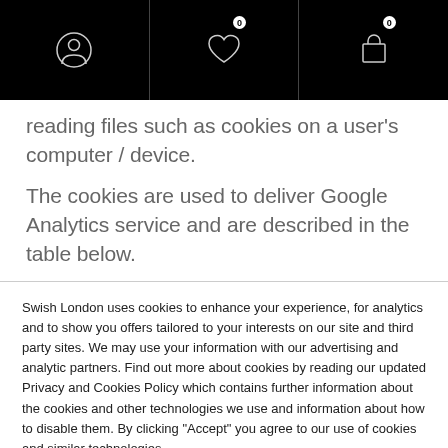[Navigation bar with user icon, wishlist (0), and cart (0)]
reading files such as cookies on a user's computer / device.
The cookies are used to deliver Google Analytics service and are described in the table below.
Swish London uses cookies to enhance your experience, for analytics and to show you offers tailored to your interests on our site and third party sites. We may use your information with our advertising and analytic partners. Find out more about cookies by reading our updated Privacy and Cookies Policy which contains further information about the cookies and other technologies we use and information about how to disable them. By clicking "Accept" you agree to our use of cookies and similar technologies.
Cookie settings   ACCEPT